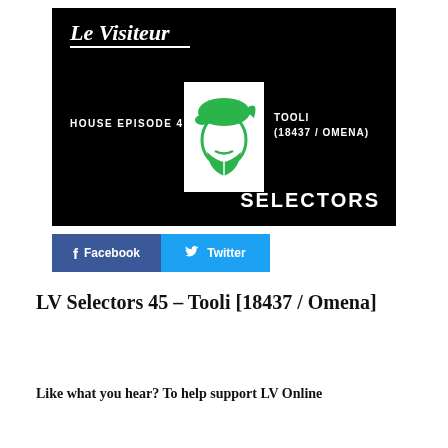[Figure (other): Black banner image for Le Visiteur Online: House Episode 45 featuring Tooli (18437 / Omena) – Selectors series. Shows a script logo 'Le Visiteur', a white box with a green illustrated face/beard icon, episode and artist info, and 'SELECTORS' text.]
[Figure (infographic): Social share buttons: dark blue Facebook button with 'f Facebook' and cyan Twitter button with bird icon and 'Twitter']
LV Selectors 45 – Tooli [18437 / Omena]
Like what you hear? To help support LV Online